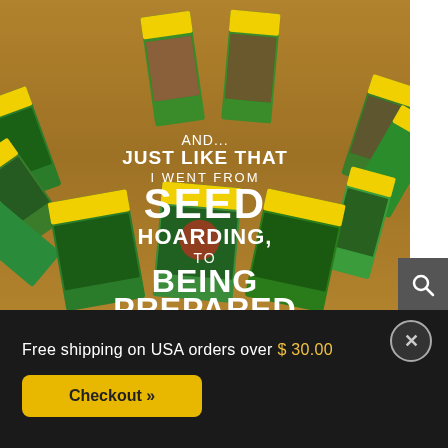[Figure (photo): Collage of colorful seed packets (Peppers of the World brand) spread on a wooden surface, with overlaid white text reading 'AND... JUST LIKE THAT I WENT FROM SEED HOARDING, TO BEING PREPARED']
Free shipping on USA orders over $ 30.00
Checkout »